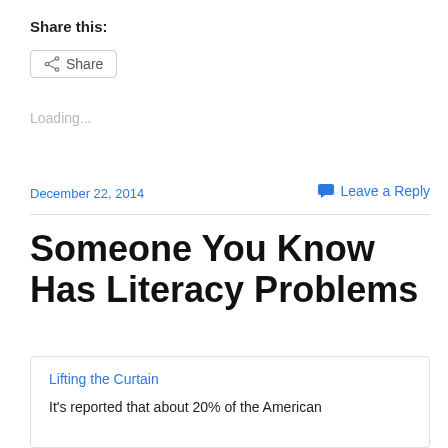Share this:
Share
Loading...
December 22, 2014
Leave a Reply
Someone You Know Has Literacy Problems
Lifting the Curtain
It's reported that about 20% of the American